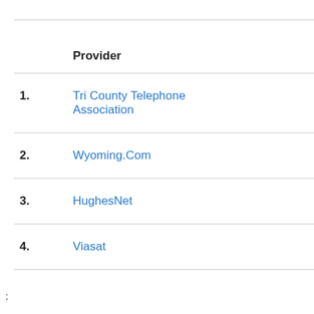|  | Provider |
| --- | --- |
| 1. | Tri County Telephone Association |
| 2. | Wyoming.Com |
| 3. | HughesNet |
| 4. | Viasat |
;